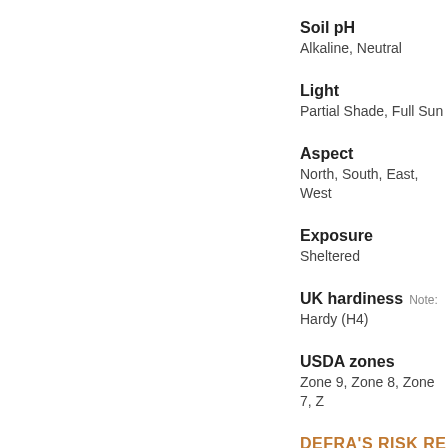Soil pH
Alkaline, Neutral
Light
Partial Shade, Full Sun
Aspect
North, South, East, West
Exposure
Sheltered
UK hardiness
Hardy (H4)
USDA zones
Zone 9, Zone 8, Zone 7, Z
DEFRA'S RISK RE
Plant name
Corylus maxima 'White Fil
Common pest name
Asian longhorn beetle; Sta